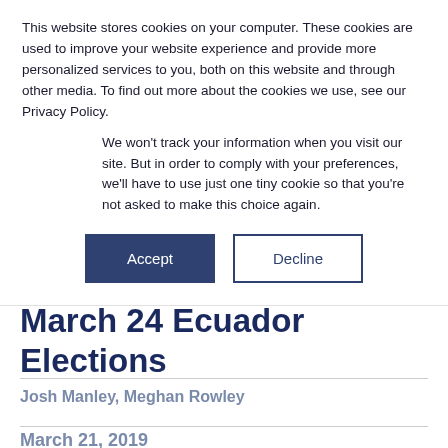This website stores cookies on your computer. These cookies are used to improve your website experience and provide more personalized services to you, both on this website and through other media. To find out more about the cookies we use, see our Privacy Policy.
We won't track your information when you visit our site. But in order to comply with your preferences, we'll have to use just one tiny cookie so that you're not asked to make this choice again.
Accept
Decline
March 24 Ecuador Elections
Josh Manley, Meghan Rowley
March 21, 2019